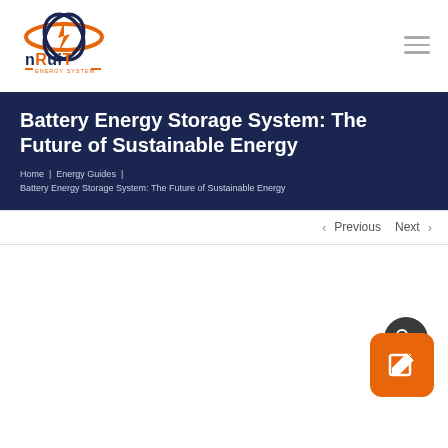[Figure (logo): nRuiT Energy System logo: orange oval rings with lightning bolt, dark blue stylized letters nRuiT, orange dashes with ENERGY SYSTEM text]
Battery Energy Storage System: The Future of Sustainable Energy
Home | Energy Guides | Battery Energy Storage System: The Future of Sustainable Energy
< Previous   Next >